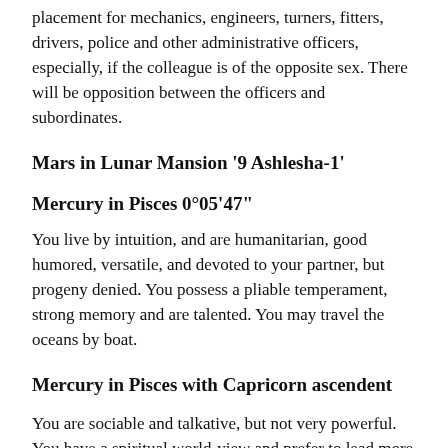placement for mechanics, engineers, turners, fitters, drivers, police and other administrative officers, especially, if the colleague is of the opposite sex. There will be opposition between the officers and subordinates.
Mars in Lunar Mansion '9 Ashlesha-1'
Mercury in Pisces 0°05'47"
You live by intuition, and are humanitarian, good humored, versatile, and devoted to your partner, but progeny denied. You possess a pliable temperament, strong memory and are talented. You may travel the oceans by boat.
Mercury in Pisces with Capricorn ascendent
You are sociable and talkative, but not very powerful. You have a spiritual world-view and prefer to lead more of an introverted life, though you can mix well with others.
Mercury in House 3